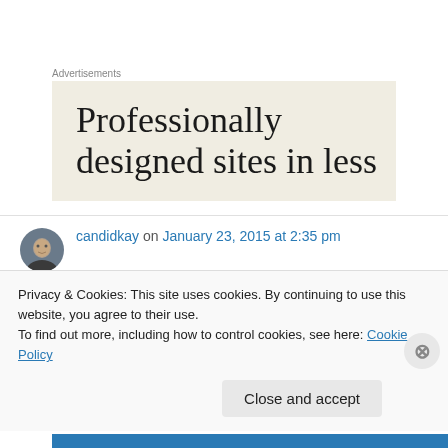Advertisements
[Figure (illustration): Advertisement banner with beige background showing text: 'Professionally designed sites in less']
candidkay on January 23, 2015 at 2:35 pm
Love these hats! My boys wore them when they were small:). They're adorable. Fashion risk.
Privacy & Cookies: This site uses cookies. By continuing to use this website, you agree to their use.
To find out more, including how to control cookies, see here: Cookie Policy
Close and accept